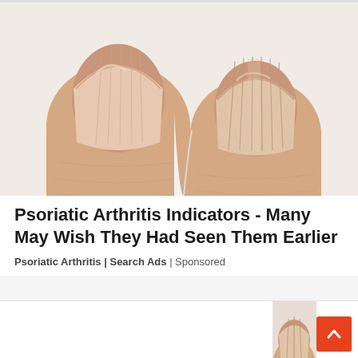[Figure (photo): Close-up photo of two human fingers side by side showing fingernails with vertical ridges, against a light gray/white background]
Psoriatic Arthritis Indicators - Many May Wish They Had Seen Them Earlier
Psoriatic Arthritis | Search Ads | Sponsored
[Figure (photo): Partial view of another image at the bottom of the page, showing what appears to be a hand or fingers]